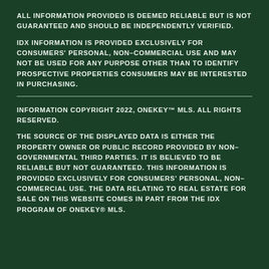ALL INFORMATION PROVIDED IS DEEMED RELIABLE BUT IS NOT GUARANTEED AND SHOULD BE INDEPENDENTLY VERIFIED.
IDX INFORMATION IS PROVIDED EXCLUSIVELY FOR CONSUMERS' PERSONAL, NON-COMMERCIAL USE AND MAY NOT BE USED FOR ANY PURPOSE OTHER THAN TO IDENTIFY PROSPECTIVE PROPERTIES CONSUMERS MAY BE INTERESTED IN PURCHASING.
INFORMATION COPYRIGHT 2022, ONEKEY™ MLS. ALL RIGHTS RESERVED.
THE SOURCE OF THE DISPLAYED DATA IS EITHER THE PROPERTY OWNER OR PUBLIC RECORD PROVIDED BY NON-GOVERNMENTAL THIRD PARTIES. IT IS BELIEVED TO BE RELIABLE BUT NOT GUARANTEED. THIS INFORMATION IS PROVIDED EXCLUSIVELY FOR CONSUMERS' PERSONAL, NON-COMMERCIAL USE. THE DATA RELATING TO REAL ESTATE FOR SALE ON THIS WEBSITE COMES IN PART FROM THE IDX PROGRAM OF ONEKEY® MLS.